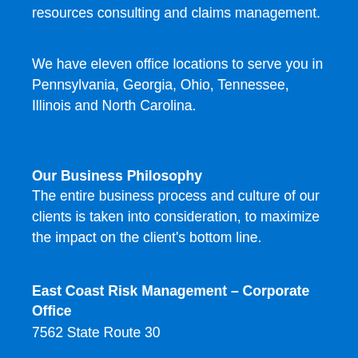resources consulting and claims management.
We have eleven office locations to serve you in Pennsylvania, Georgia, Ohio, Tennessee, Illinois and North Carolina.
Our Business Philosophy
The entire business process and culture of our clients is taken into consideration, to maximize the impact on the client's bottom line.
East Coast Risk Management – Corporate Office
7562 State Route 30
North Huntingdon, PA 15642
Call 724-864-8745
Fax 724-864-9265
info@eastcoastrm.com